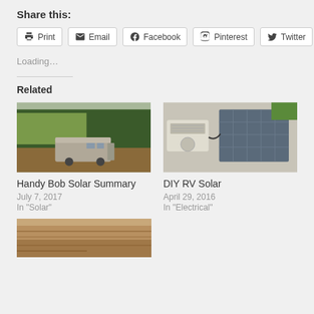Share this:
Print | Email | Facebook | Pinterest | Twitter
Loading...
Related
[Figure (photo): RV motorhome parked in a forested area with trees in the background]
Handy Bob Solar Summary
July 7, 2017
In "Solar"
[Figure (photo): Solar panel on RV roof with white air conditioning unit and wiring]
DIY RV Solar
April 29, 2016
In "Electrical"
[Figure (photo): Partial image at bottom of page, rocky or canyon texture]